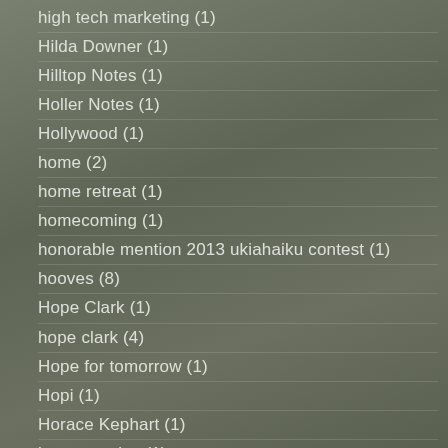high tech marketing (1)
Hilda Downer (1)
Hilltop Notes (1)
Holler Notes (1)
Hollywood (1)
home (2)
home retreat (1)
homecoming (1)
honorable mention 2013 ukiahaiku contest (1)
hooves (8)
Hope Clark (1)
hope clark (4)
Hope for tomorrow (1)
Hopi (1)
Horace Kephart (1)
horror stories (1)
horse back riding (1)
horses (1)
hot in the mountains (1)